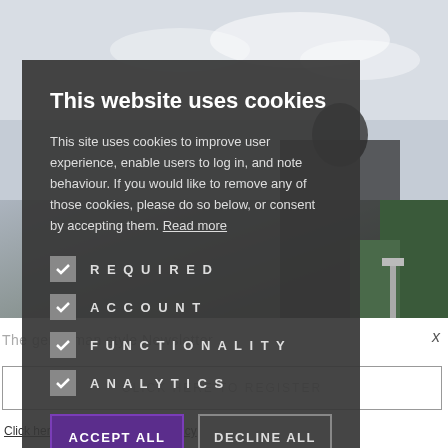[Figure (screenshot): Background photo of a man in dark clothing outdoors, with trees and sky visible]
This website uses cookies
This site uses cookies to improve user experience, enable users to log in, and note behaviour. If you would like to remove any of those cookies, please do so below, or consent by accepting them. Read more
REQUIRED (checked)
ACCOUNT (checked)
FUNCTIONALITY (checked)
ANALYTICS (checked)
ACCEPT ALL
DECLINE ALL
The gentleman style Newsletter
x
CLICK HERE TO REGISTER
Click here to read our Privacy Policy